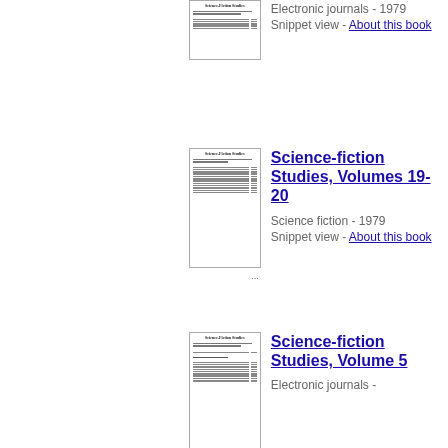[Figure (other): Thumbnail image of a Science-Fiction Studies journal page]
Electronic journals - 1979
Snippet view - About this book
[Figure (other): Thumbnail image of Science-Fiction Studies, Volumes 19-20]
Science-fiction Studies, Volumes 19-20
Science fiction - 1979
Snippet view - About this book
[Figure (other): Thumbnail image of Science-Fiction Studies, Volume 5]
Science-fiction Studies, Volume 5
Electronic journals -